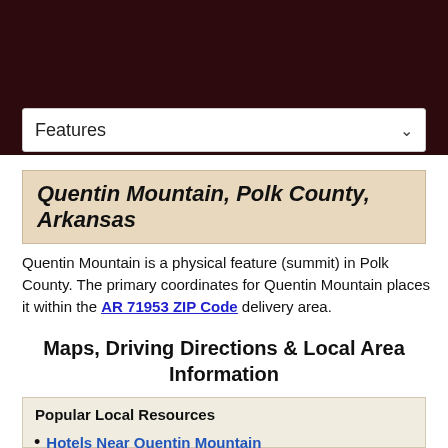[Figure (other): Dark maroon header bar with a dropdown selector labeled 'Features']
Quentin Mountain, Polk County, Arkansas
Quentin Mountain is a physical feature (summit) in Polk County. The primary coordinates for Quentin Mountain places it within the AR 71953 ZIP Code delivery area.
Maps, Driving Directions & Local Area Information
Popular Local Resources
Hotels Near Quentin Mountain